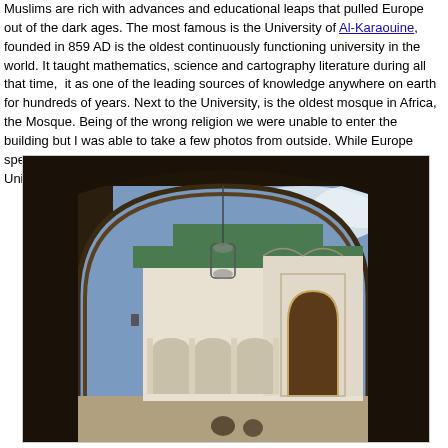Muslims are rich with advances and educational leaps that pulled Europe out of the dark ages. The most famous is the University of Al-Karaouine, founded in 859 AD is the oldest continuously functioning university in the world. It taught mathematics, science and cartography literature during all that time, it as one of the leading sources of knowledge anywhere on earth for hundreds of years. Next to the University, is the oldest mosque in Africa, the Mosque. Being of the wrong religion we were unable to enter the building but I was able to take a few photos from outside. While Europe spent 500 years living in squallier and cooking food with cow dung, this University taught advanced mathematics, astronomy and physics.
[Figure (photo): View through a large ornate Moorish horseshoe arch into a courtyard of Al-Karaouine University/Mosque in Fez, Morocco. The arch frames white-washed Islamic architecture with green-tiled roofs, decorative arches, intricate plasterwork, and a lantern hanging from the apex of the arch. Blue sky with clouds visible through the arch opening.]